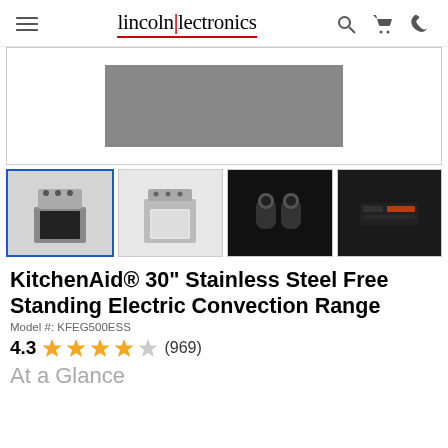lincoln|lectronics — navigation header with hamburger menu, search, cart, phone icons
[Figure (photo): Main product image area showing top portion of KitchenAid stainless steel range, partially visible gray panel]
[Figure (photo): Four product thumbnail images: (1) full range front view selected, (2) range with open oven door, (3) close-up of control knobs, (4) close-up of control panel/display]
KitchenAid® 30" Stainless Steel Free Standing Electric Convection Range
Model #: KFEG500ESS
4.3 ★★★★☆ (969)
At a Glance